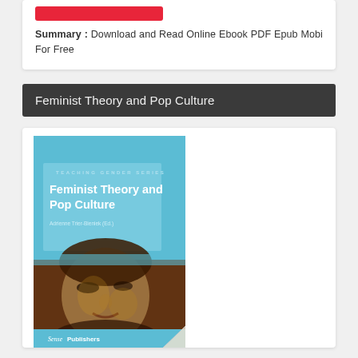[Figure (other): Red button/banner at top of card]
Summary : Download and Read Online Ebook PDF Epub Mobi For Free
Feminist Theory and Pop Culture
[Figure (photo): Book cover of 'Feminist Theory and Pop Culture' from Teaching Gender Series, edited by Adrienne Trier-Bieniek, published by Sense Publishers. Cover shows a light blue top section with white title text and a bottom section with a painted/artistic portrait of a woman's face on a dark brown background.]